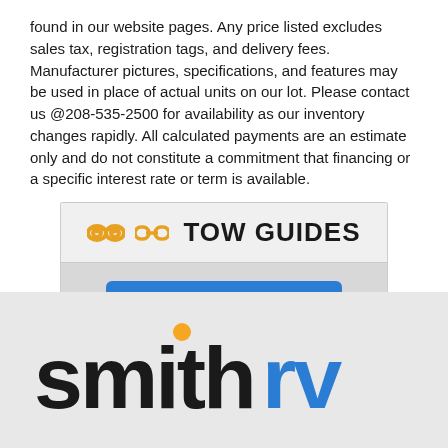found in our website pages. Any price listed excludes sales tax, registration tags, and delivery fees. Manufacturer pictures, specifications, and features may be used in place of actual units on our lot. Please contact us @208-535-2500 for availability as our inventory changes rapidly. All calculated payments are an estimate only and do not constitute a commitment that financing or a specific interest rate or term is available.
[Figure (infographic): Tow Guides box with chain link icon and 'TOW GUIDES' heading in bold, plus a blue 'SEE DETAILS' button below on a grey background.]
[Figure (logo): Smith RV logo: 'smith' in large bold black text with an orange dot above the 'i', followed by 'rv' in large bold blue text.]